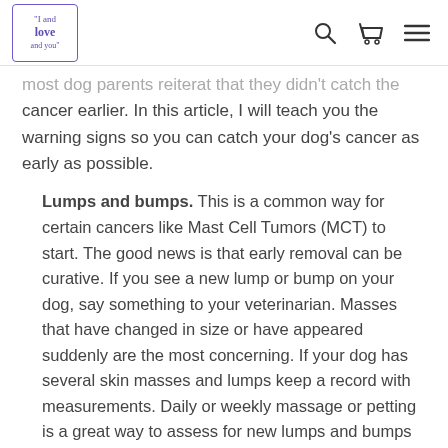"I and love and you" logo with search, cart, and menu icons
most dog parents reiterat that they didn't catch the cancer earlier. In this article, I will teach you the warning signs so you can catch your dog's cancer as early as possible.
Lumps and bumps. This is a common way for certain cancers like Mast Cell Tumors (MCT) to start. The good news is that early removal can be curative. If you see a new lump or bump on your dog, say something to your veterinarian. Masses that have changed in size or have appeared suddenly are the most concerning. If your dog has several skin masses and lumps keep a record with measurements. Daily or weekly massage or petting is a great way to assess for new lumps and bumps on your dog.
Your veterinarian can pull out cells from the mass